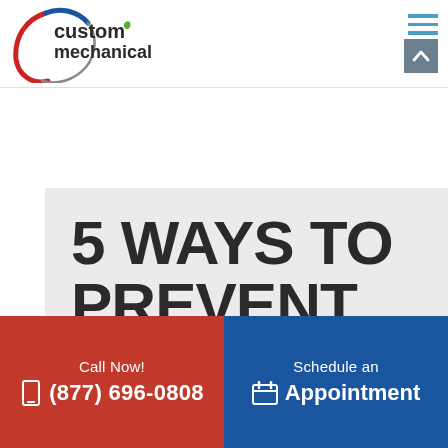[Figure (logo): Custom Mechanical logo with circular swoosh graphic in red and blue, green leaf accent, text 'custom mechanical']
[Figure (screenshot): Hamburger menu icon (3 horizontal blue lines) and grey up-arrow button in top right of header]
5 WAYS TO PREVENT PLUMBING
Call Now!
(877) 696-0808
Schedule an
Appointment